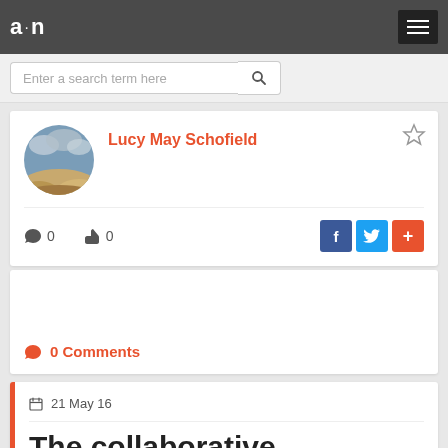a·n
Enter a search term here
Lucy May Schofield
0  0
0 Comments
21 May 16
The collaborative